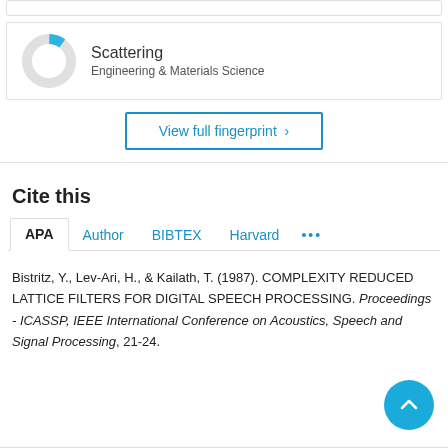[Figure (donut-chart): Small donut chart with a light blue fill segment (~10%), grey background ring, representing 'Scattering' in Engineering & Materials Science fingerprint]
Scattering
Engineering & Materials Science
View full fingerprint >
Cite this
APA  Author  BIBTEX  Harvard  ...
Bistritz, Y., Lev-Ari, H., & Kailath, T. (1987). COMPLEXITY REDUCED LATTICE FILTERS FOR DIGITAL SPEECH PROCESSING. Proceedings - ICASSP, IEEE International Conference on Acoustics, Speech and Signal Processing, 21-24.